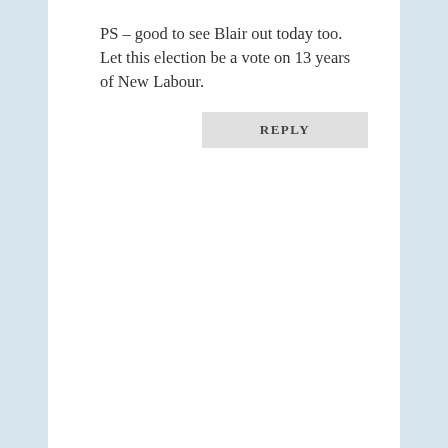PS – good to see Blair out today too. Let this election be a vote on 13 years of New Labour.
REPLY
Stan Rosenthal on
April 30, 2010 at 11:54 am
I agree that Gordon towered above the others at last night's debate, Alastair but I fear we might be reaching a stage in the campaign where people are not